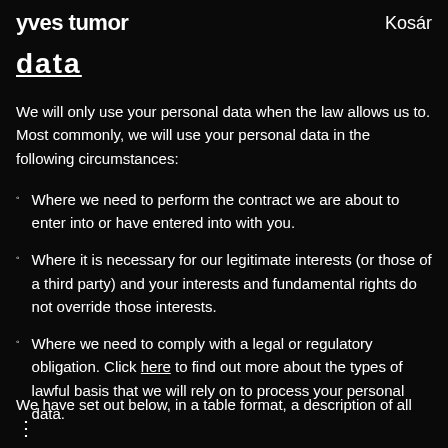yves tumor    Kosár
data
We will only use your personal data when the law allows us to. Most commonly, we will use your personal data in the following circumstances:
Where we need to perform the contract we are about to enter into or have entered into with you.
Where it is necessary for our legitimate interests (or those of a third party) and your interests and fundamental rights do not override those interests.
Where we need to comply with a legal or regulatory obligation. Click here to find out more about the types of lawful basis that we will rely on to process your personal data.
We have set out below, in a table format, a description of all the ways we plan to use your personal data, and which of the